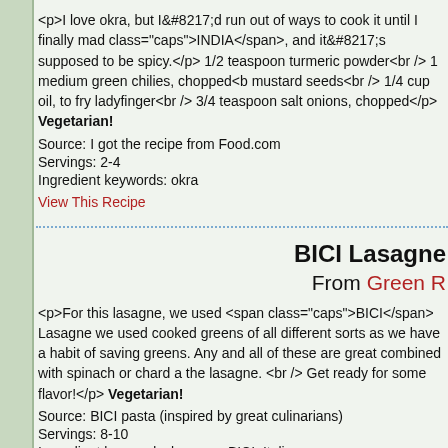<p>I love okra, but I’d run out of ways to cook it until I finally mad class="caps">INDIA</span>, and it’s supposed to be spicy.</p> 1/2 teaspoon turmeric powder<br /> 1 medium green chilies, chopped<b mustard seeds<br /> 1/4 cup oil, to fry ladyfinger<br /> 3/4 teaspoon salt onions, chopped</p> Vegetarian!
Source: I got the recipe from Food.com
Servings: 2-4
Ingredient keywords: okra
View This Recipe
BICI Lasagne
From Green R
<p>For this lasagne, we used <span class="caps">BICI</span> Lasagne we used cooked greens of all different sorts as we have a habit of saving greens. Any and all of these are great combined with spinach or chard a the lasagne. <br /> Get ready for some flavor!</p> Vegetarian!
Source: BICI pasta (inspired by great culinarians)
Servings: 8-10
Ingredient keywords: lasagne, BICI, Italian